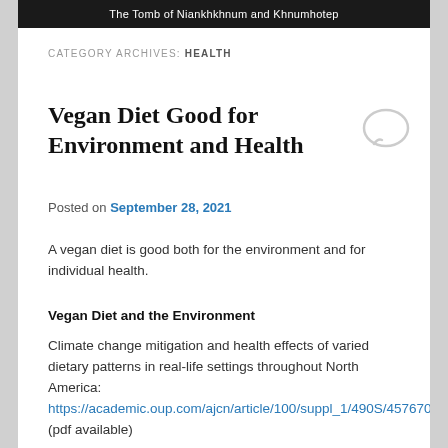The Tomb of Niankhkhnum and Khnumhotep
CATEGORY ARCHIVES: HEALTH
Vegan Diet Good for Environment and Health
Posted on September 28, 2021
A vegan diet is good both for the environment and for individual health.
Vegan Diet and the Environment
Climate change mitigation and health effects of varied dietary patterns in real-life settings throughout North America:
https://academic.oup.com/ajcn/article/100/suppl_1/490S/4576703
(pdf available)